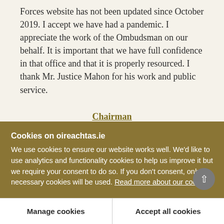Forces website has not been updated since October 2019. I accept we have had a pandemic. I appreciate the work of the Ombudsman on our behalf. It is important that we have full confidence in that office and that it is properly resourced. I thank Mr. Justice Mahon for his work and public service.
Chairman
I thank Senator Buttimer. The next speaker is
Cookies on oireachtas.ie
We use cookies to ensure our website works well. We'd like to use analytics and functionality cookies to help us improve it but we require your consent to do so. If you don't consent, only necessary cookies will be used. Read more about our cookies
Manage cookies
Accept all cookies